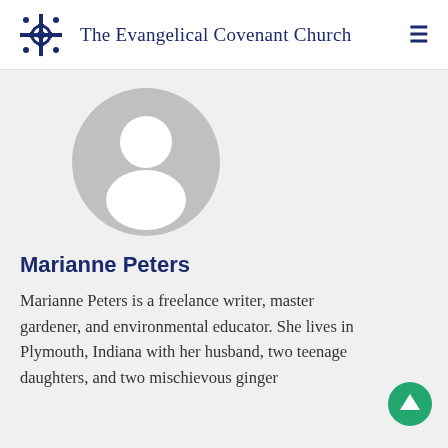The Evangelical Covenant Church
[Figure (illustration): Default user avatar placeholder: a grey circle with white silhouette of a person (head and shoulders)]
Marianne Peters
Marianne Peters is a freelance writer, master gardener, and environmental educator. She lives in Plymouth, Indiana with her husband, two teenage daughters, and two mischievous ginger